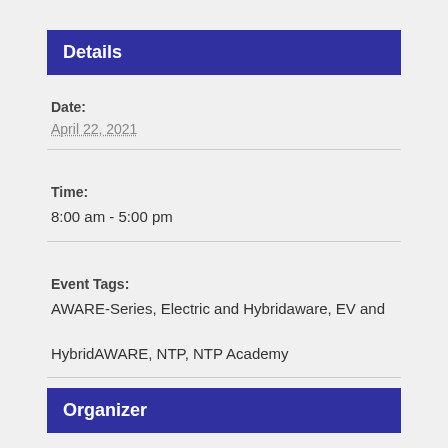Details
Date:
April 22, 2021
Time:
8:00 am - 5:00 pm
Event Tags:
AWARE-Series, Electric and Hybridaware, EV and HybridAWARE, NTP, NTP Academy
Organizer